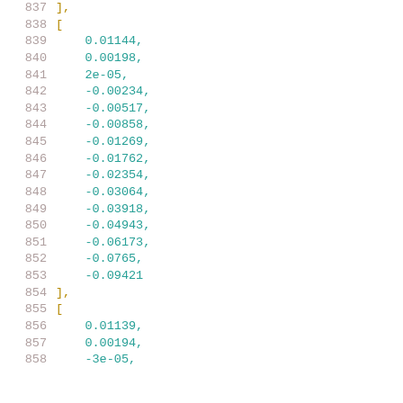837    ],
838    [
839        0.01144,
840        0.00198,
841        2e-05,
842        -0.00234,
843        -0.00517,
844        -0.00858,
845        -0.01269,
846        -0.01762,
847        -0.02354,
848        -0.03064,
849        -0.03918,
850        -0.04943,
851        -0.06173,
852        -0.0765,
853        -0.09421
854    ],
855    [
856        0.01139,
857        0.00194,
858        -3e-05,